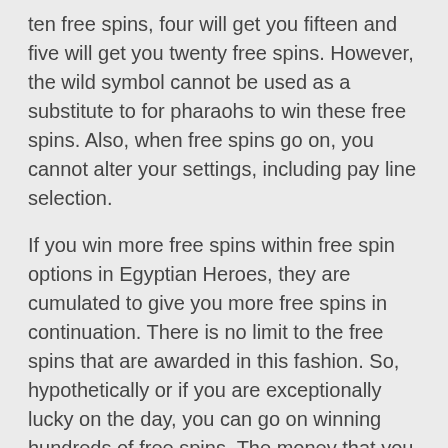ten free spins, four will get you fifteen and five will get you twenty free spins. However, the wild symbol cannot be used as a substitute to for pharaohs to win these free spins. Also, when free spins go on, you cannot alter your settings, including pay line selection.
If you win more free spins within free spin options in Egyptian Heroes, they are cumulated to give you more free spins in continuation. There is no limit to the free spins that are awarded in this fashion. So, hypothetically or if you are exceptionally lucky on the day, you can go on winning hundreds of free spins. The money that you win during free spins is added to your total win amount. The Golden Bet Line can get you lot of money. This line is available but changes with every spin in Egyptian Heroes.
Egyptian Heroes online video slots game from the